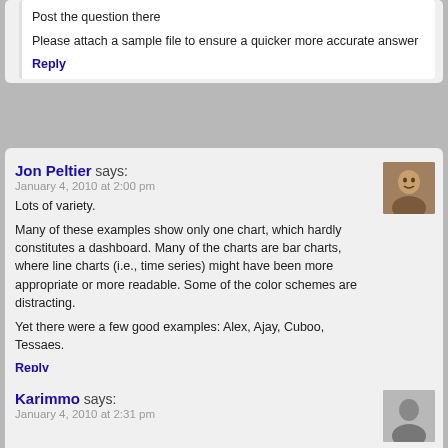Post the question there
Please attach a sample file to ensure a quicker more accurate answer
Reply
Jon Peltier says:
January 4, 2010 at 2:00 pm
Lots of variety.
Many of these examples show only one chart, which hardly constitutes a dashboard. Many of the charts are bar charts, where line charts (i.e., time series) might have been more appropriate or more readable. Some of the color schemes are distracting.
Yet there were a few good examples: Alex, Ajay, Cuboo, Tessaes.
Reply
Chris Grant says:
January 4, 2010 at 2:17 pm
Wow, this is great. And --- source files too! Thank you for organizing this.
Reply
Karimmo says:
January 4, 2010 at 2:31 pm